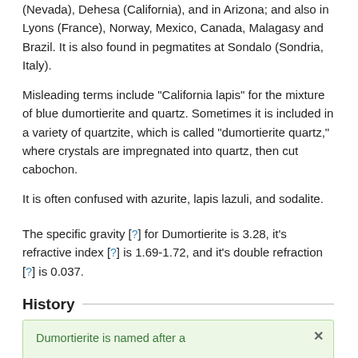(Nevada), Dehesa (California), and in Arizona; and also in Lyons (France), Norway, Mexico, Canada, Malagasy and Brazil. It is also found in pegmatites at Sondalo (Sondria, Italy).
Misleading terms include "California lapis" for the mixture of blue dumortierite and quartz. Sometimes it is included in a variety of quartzite, which is called "dumortierite quartz," where crystals are impregnated into quartz, then cut cabochon.
It is often confused with azurite, lapis lazuli, and sodalite.
The specific gravity [?] for Dumortierite is 3.28, it's refractive index [?] is 1.69-1.72, and it's double refraction [?] is 0.037.
History
Dumortierite is named after a